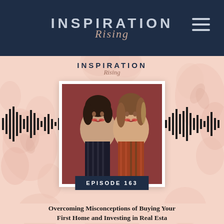INSPIRATION Rising
[Figure (illustration): Podcast episode artwork showing two women smiling, with audio waveform graphics on both sides, floral watercolor background, and Inspiration Rising branding logo above]
EPISODE 163
Overcoming Misconceptions of Buying Your First Home and Investing in Real Estate